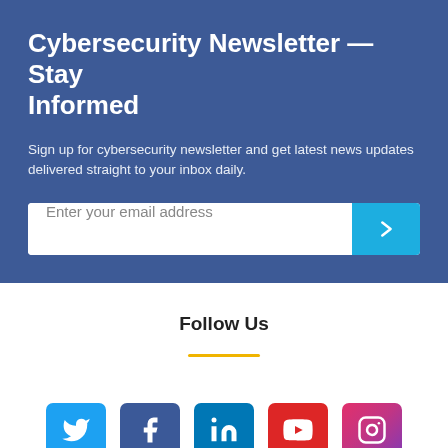Cybersecurity Newsletter — Stay Informed
Sign up for cybersecurity newsletter and get latest news updates delivered straight to your inbox daily.
Enter your email address
Follow Us
[Figure (illustration): Social media icons row: Twitter (blue), Facebook (dark blue), LinkedIn (blue), YouTube (red), Instagram (gradient pink-purple)]